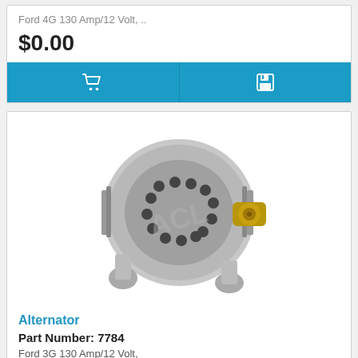Ford 4G 130 Amp/12 Volt, ..
$0.00
[Figure (photo): Photograph of a Ford alternator part, silver/metallic finish with circular housing and brass bolt connector]
Alternator
Part Number: 7784
Ford 3G 130 Amp/12 Volt,